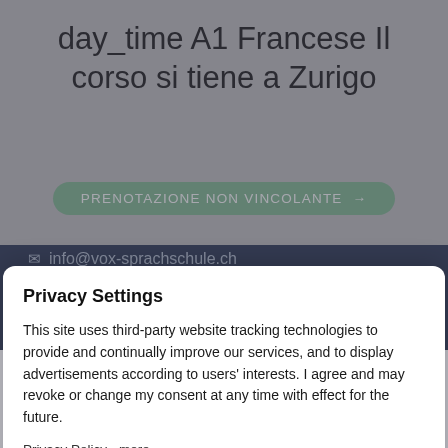day_time A1 Francese Il corso si tiene a Zurigo
PRENOTAZIONE NON VINCOLANTE →
info@vox-sprachschule.ch
+41 44 221 11 33
WhatsApp Chat
Privacy Settings
This site uses third-party website tracking technologies to provide and continually improve our services, and to display advertisements according to users' interests. I agree and may revoke or change my consent at any time with effect for the future.
Privacy Policy   more
Accept All
Powered by Usercentrics Consent Management